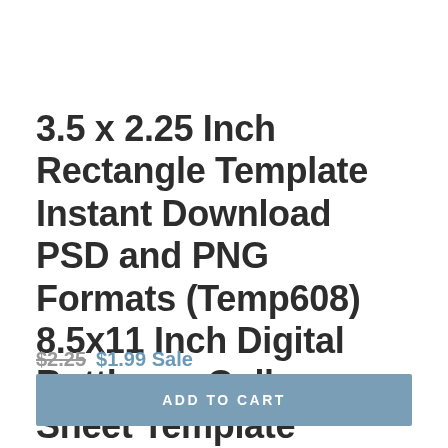3.5 x 2.25 Inch Rectangle Template Instant Download PSD and PNG Formats (Temp608) 8.5x11 Inch Digital Bottlecap Collage Sheet Template
$2.25  $1.99 Sale
ADD TO CART